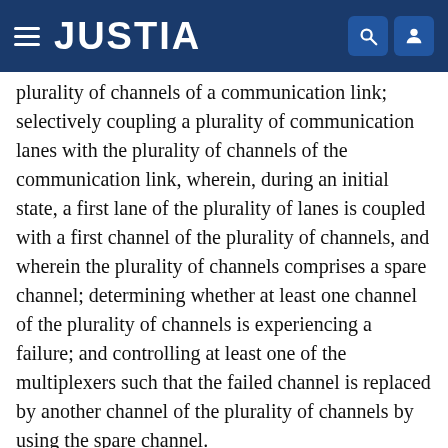JUSTIA
plurality of channels of a communication link; selectively coupling a plurality of communication lanes with the plurality of channels of the communication link, wherein, during an initial state, a first lane of the plurality of lanes is coupled with a first channel of the plurality of channels, and wherein the plurality of channels comprises a spare channel; determining whether at least one channel of the plurality of channels is experiencing a failure; and controlling at least one of the multiplexers such that the failed channel is replaced by another channel of the plurality of channels by using the spare channel.
Certain embodiments of the present disclosure provide a computer program product for repairing communication lane failures. The computer program product generally includes a computer readable storage